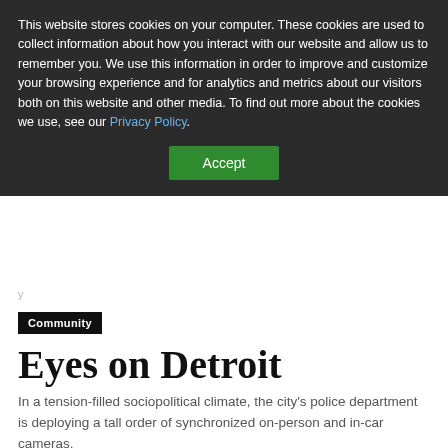This website stores cookies on your computer. These cookies are used to collect information about how you interact with our website and allow us to remember you. We use this information in order to improve and customize your browsing experience and for analytics and metrics about our visitors both on this website and other media. To find out more about the cookies we use, see our Privacy Policy.
Accept
y
Community
Eyes on Detroit
In a tension-filled sociopolitical climate, the city's police department is deploying a tall order of synchronized on-person and in-car cameras.
By Aleanna Siacon - January 27, 2017
[Figure (screenshot): Advertisement banner for Top Junior Gold Mining Stock showing gold bars image on left, ad text in center, blue arrow button on right, and close button in top right corner.]